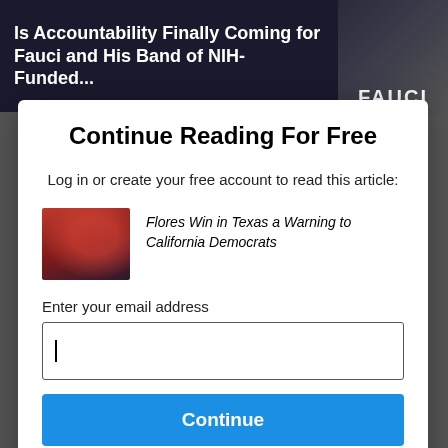[Figure (screenshot): Dark banner with white bold text headline about Fauci and NIH accountability, with a person's face partially visible on right side and 'FAUCI' text label]
Continue Reading For Free
Log in or create your free account to read this article:
[Figure (photo): Thumbnail photo showing a crowd scene with a woman in red at center]
Flores Win in Texas a Warning to California Democrats
Enter your email address
Continue
By continuing, you agree to the Terms of Service and acknowledge our Privacy Policy.